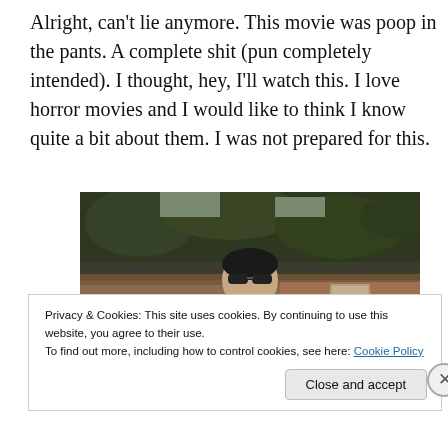Alright, can't lie anymore. This movie was poop in the pants. A complete shit (pun completely intended). I thought, hey, I'll watch this. I love horror movies and I would like to think I know quite a bit about them. I was not prepared for this.
[Figure (photo): A person wearing sunglasses and a white top-button shirt standing outdoors in front of a house with a tiled roof and trees in the background.]
Privacy & Cookies: This site uses cookies. By continuing to use this website, you agree to their use.
To find out more, including how to control cookies, see here: Cookie Policy
Close and accept